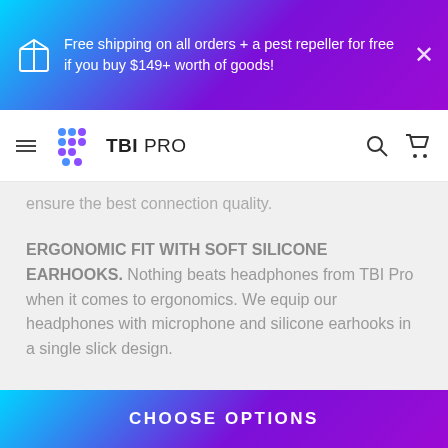Free shipping on all orders + a pest repeller for free if you buy $149+ worth of goods!
[Figure (logo): TBI Pro logo with colorful dot grid and company name]
ensure the best connection quality.
ERGONOMIC FIT WITH SOFT SILICONE EARHOOKS. Nothing beats headphones from TBI Pro when it comes to ergonomics. We equip our headphones with microphone and silicone earhooks in a single slick design.
DESIGNED IN USA WITH LEADING SOUND ENGINEERS. Our earbuds with microphone were developed in cooperation with the best engineers available. Enjoy our special PowerPro
CHOOSE OPTIONS